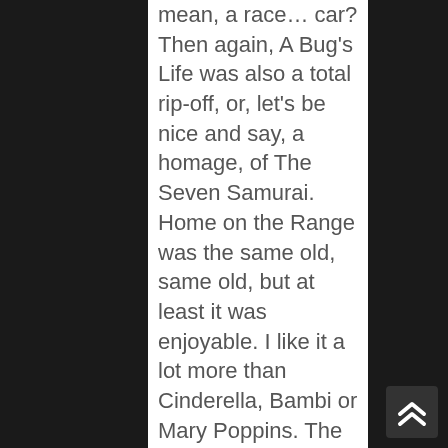mean, a race… car? Then again, A Bug's Life was also a total rip-off, or, let's be nice and say, a homage, of The Seven Samurai. Home on the Range was the same old, same old, but at least it was enjoyable. I like it a lot more than Cinderella, Bambi or Mary Poppins. The last one even disgusts me. The song where they sing supercalifragilistic-expialidocious, over and over again, is the most annoying earworm ever created